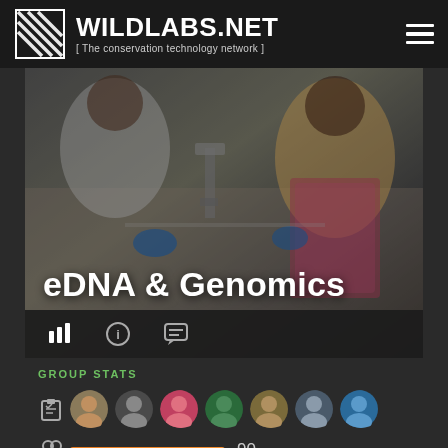WILDLABS.NET [The conservation technology network]
[Figure (photo): Lab scientists working at a table with microscopes and samples, overlaid with the text 'eDNA & Genomics']
eDNA & Genomics
GROUP STATS
[Figure (infographic): Group stats section showing member avatars, a members count bar (orange, 90), discussion count bar (green, 43), and resources count bar (blue, 35)]